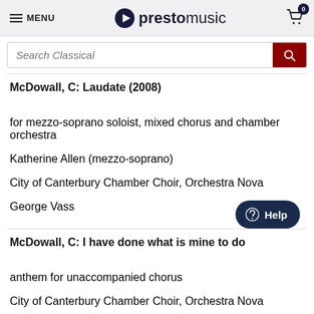MENU | prestomusic | cart (0)
Search Classical
McDowall, C: Laudate (2008)
for mezzo-soprano soloist, mixed chorus and chamber orchestra
Katherine Allen (mezzo-soprano)
City of Canterbury Chamber Choir, Orchestra Nova
George Vass
McDowall, C: I have done what is mine to do
anthem for unaccompanied chorus
City of Canterbury Chamber Choir, Orchestra Nova
George Vass
McDowall, C: Now may we singen, a carol for Christmas
for unaccompanied chorus
City of Canterbury Chamber Choir, Orchestra Nova